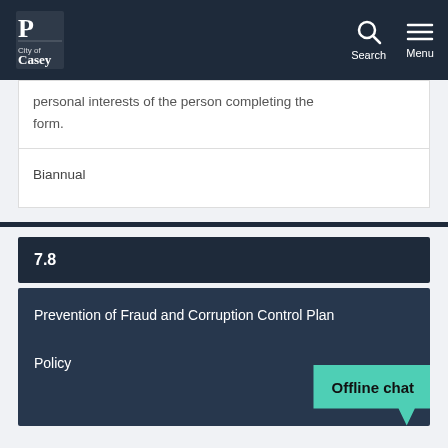City of Casey
personal interests of the person completing the form.
Biannual
7.8
Prevention of Fraud and Corruption Control Plan Policy